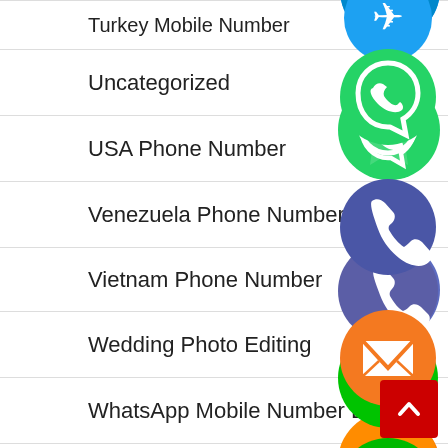Turkey Mobile Number
Uncategorized
USA Phone Number
Venezuela Phone Number
Vietnam Phone Number
Wedding Photo Editing
WhatsApp Mobile Number List
Whatsapp Number List
WhatsApp数据库
[Figure (illustration): Floating social media and communication app icons: Telegram (blue), WhatsApp (green), phone/call (blue-purple), email/envelope (orange), LINE (green), Viber (purple), close/X (green), arranged vertically overlapping the list]